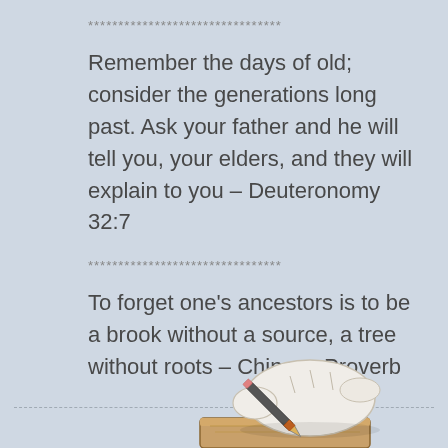********************************
Remember the days of old; consider the generations long past. Ask your father and he will tell you, your elders, and they will explain to you – Deuteronomy 32:7
********************************
To forget one's ancestors is to be a brook without a source, a tree without roots – Chinese Proverb
[Figure (illustration): Hand holding a pen and writing, illustration style sketch showing a gloved or white-sleeved hand with a pen on a wooden surface]